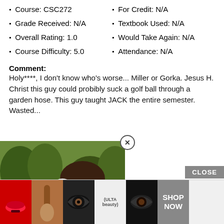Course: CSC272
For Credit: N/A
Grade Received: N/A
Textbook Used: N/A
Overall Rating: 1.0
Would Take Again: N/A
Course Difficulty: 5.0
Attendance: N/A
Comment:
Holy****, I don't know who's worse... Miller or Gorka. Jesus H. Christ this guy could probibly suck a golf ball through a garden hose. This guy taught JACK the entire semester. Wasted...
[Figure (screenshot): Video thumbnail overlay showing a young woman with brown hair, play button visible, with X close button]
For Credit: N/A
Textbook Used: N/A
Overall Rating: 1.0
Would Take Again: N/A
Course Difficulty: 3.0
Attendance: N/A
Comment:
The se... o would u take ...hapters
[Figure (screenshot): Bottom advertisement banner with beauty product images and SHOP NOW button, with CLOSE button above it]